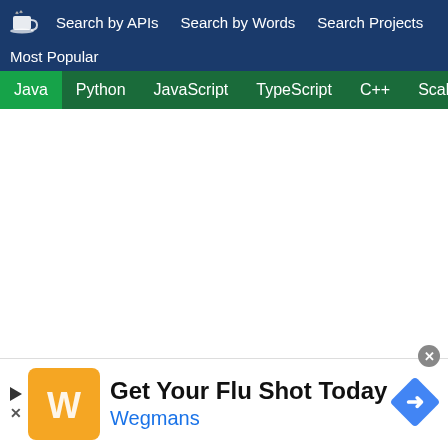Search by APIs  Search by Words  Search Projects
Most Popular
Java
Python
JavaScript
TypeScript
C++
Scala
[Figure (screenshot): White empty content area]
Get Your Flu Shot Today
Wegmans